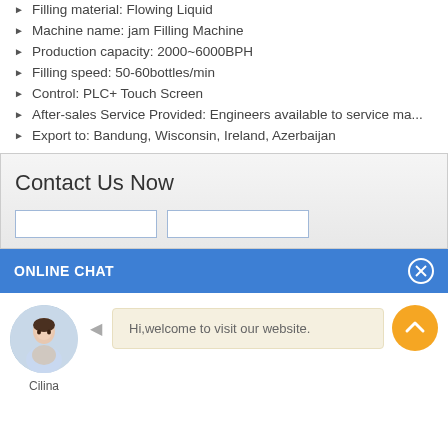Filling material: Flowing Liquid
Machine name: jam Filling Machine
Production capacity: 2000~6000BPH
Filling speed: 50-60bottles/min
Control: PLC+ Touch Screen
After-sales Service Provided: Engineers available to service ma...
Export to: Bandung, Wisconsin, Ireland, Azerbaijan
Contact Us Now
ONLINE CHAT
Hi,welcome to visit our website.
Cilina